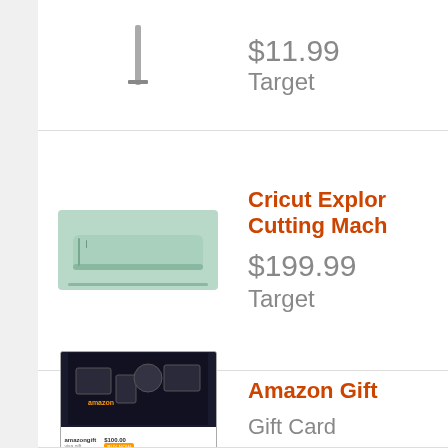$11.99
Target
[Figure (photo): Cricut Explore cutting machine product photo]
Cricut Explore Cutting Machine
$199.99
Target
[Figure (photo): Amazon Gift Card product photo showing electronic devices]
Amazon Gift Card
Gift Card